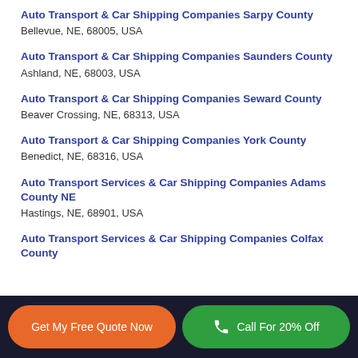Auto Transport & Car Shipping Companies Sarpy County
Bellevue, NE, 68005, USA
Auto Transport & Car Shipping Companies Saunders County
Ashland, NE, 68003, USA
Auto Transport & Car Shipping Companies Seward County
Beaver Crossing, NE, 68313, USA
Auto Transport & Car Shipping Companies York County
Benedict, NE, 68316, USA
Auto Transport Services & Car Shipping Companies Adams County NE
Hastings, NE, 68901, USA
Auto Transport Services & Car Shipping Companies Colfax County
Get My Free Quote Now   Call For 20% Off